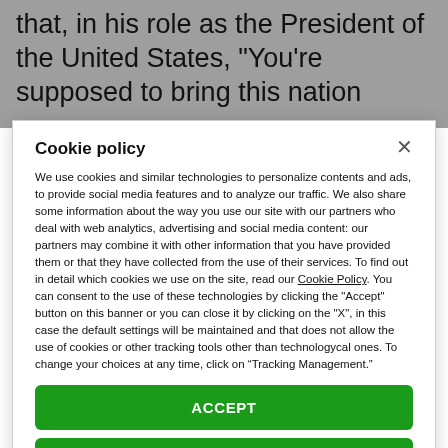that, in his role as the President of the United States, "You're supposed to bring this nation
Cookie policy
We use cookies and similar technologies to personalize contents and ads, to provide social media features and to analyze our traffic. We also share some information about the way you use our site with our partners who deal with web analytics, advertising and social media content: our partners may combine it with other information that you have provided them or that they have collected from the use of their services. To find out in detail which cookies we use on the site, read our Cookie Policy. You can consent to the use of these technologies by clicking the "Accept" button on this banner or you can close it by clicking on the "X", in this case the default settings will be maintained and that does not allow the use of cookies or other tracking tools other than technologycal ones. To change your choices at any time, click on “Tracking Management.”
ACCEPT
TRACKERS MANAGEMENT
Show vendors | Show purposes